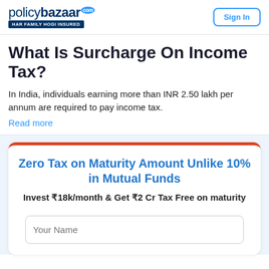policybazaar.com HAR FAMILY HOGI INSURED | Sign In
What Is Surcharge On Income Tax?
In India, individuals earning more than INR 2.50 lakh per annum are required to pay income tax.
Read more
Zero Tax on Maturity Amount Unlike 10% in Mutual Funds
Invest ₹18k/month & Get ₹2 Cr Tax Free on maturity
Your Name